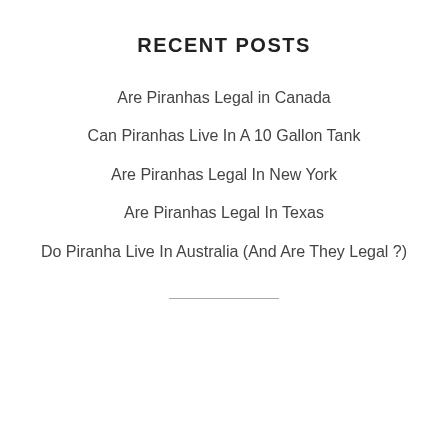RECENT POSTS
Are Piranhas Legal in Canada
Can Piranhas Live In A 10 Gallon Tank
Are Piranhas Legal In New York
Are Piranhas Legal In Texas
Do Piranha Live In Australia (And Are They Legal ?)